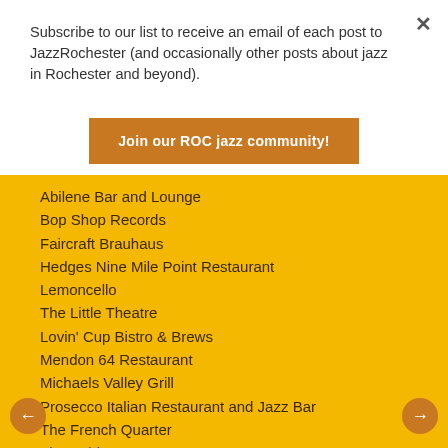Subscribe to our list to receive an email of each post to JazzRochester (and occasionally other posts about jazz in Rochester and beyond).
Join our ROC jazz community!
Abilene Bar and Lounge
Bop Shop Records
Faircraft Brauhaus
Hedges Nine Mile Point Restaurant
Lemoncello
The Little Theatre
Lovin' Cup Bistro & Brews
Mendon 64 Restaurant
Michaels Valley Grill
Prosecco Italian Restaurant and Jazz Bar
The French Quarter
The Spirit Room
The Theatre at Innovation Square